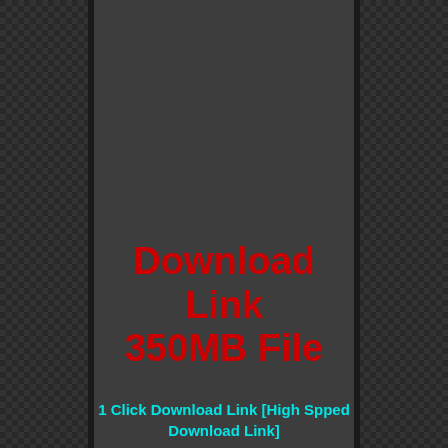[Figure (illustration): Dark textured background resembling a notebook or book cover with a grid/checkered pattern. Left and right sidebars have a darker grid texture. Center panel is a uniform dark gray. Narrow vertical binding lines separate the sidebars from the center panel.]
Download Link 350MB File
1 Click Download Link [High Spped Download Link]
Google Drive Link 1 [High Spped Download Link]